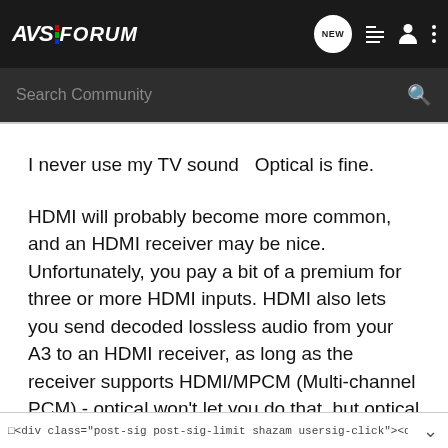AVS FORUM — navigation bar with NEW, list, user, and menu icons
Search Community
I never use my TV sound  Optical is fine.
HDMI will probably become more common, and an HDMI receiver may be nice. Unfortunately, you pay a bit of a premium for three or more HDMI inputs. HDMI also lets you send decoded lossless audio from your A3 to an HDMI receiver, as long as the receiver supports HDMI/MPCM (Multi-channel PCM) - optical won't let you do that, but optical obviously sounds very good.
□<div class="post-sig post-sig-limit shazam usersig-click"><div